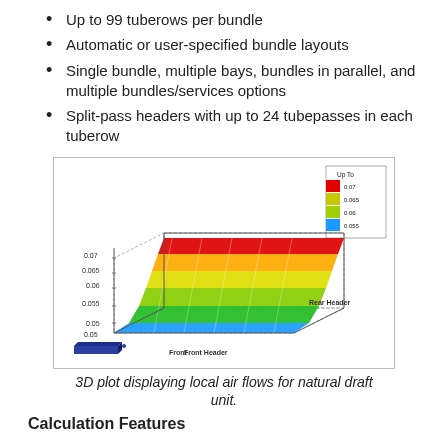Up to 99 tuberows per bundle
Automatic or user-specified bundle layouts
Single bundle, multiple bays, bundles in parallel, and multiple bundles/services options
Split-pass headers with up to 24 tubepasses in each tuberow
[Figure (other): 3D surface plot displaying local air flows for a natural draft unit. The surface shows a color-coded gradient from blue (0.055) at the bottom-left rising through green, yellow, to red (0.07) at the top-right. Axes show Rear Header, Front/Front Header. A legend in the top-right corner shows color bands: red=0.07, yellow-green=0.065, yellow=0.06, green=0.055. A 3D blue rectangular tube is shown at the bottom-left of the figure.]
3D plot displaying local air flows for natural draft unit.
Calculation Features